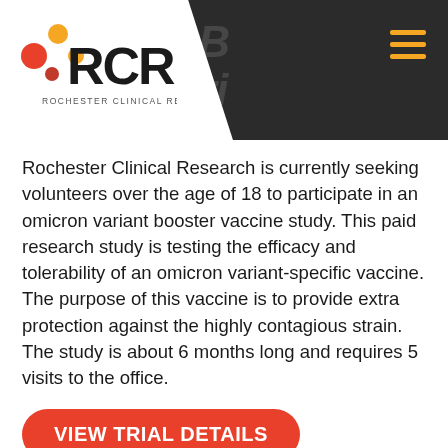[Figure (logo): Rochester Clinical Research (RCR) logo with colored dots]
Rochester Clinical Research is currently seeking volunteers over the age of 18 to participate in an omicron variant booster vaccine study. This paid research study is testing the efficacy and tolerability of an omicron variant-specific vaccine. The purpose of this vaccine is to provide extra protection against the highly contagious strain. The study is about 6 months long and requires 5 visits to the office.
VIEW TRIAL DETAILS
Ages
18+